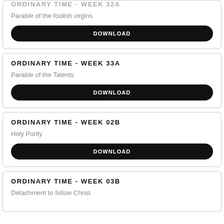ORDINARY TIME - WEEK 32A
Parable of the foolish virgins
DOWNLOAD
ORDINARY TIME - WEEK 33A
Parable of the Talents
DOWNLOAD
ORDINARY TIME - WEEK 02B
Holy Purity
DOWNLOAD
ORDINARY TIME - WEEK 03B
Detachment to follow Christ
DOWNLOAD